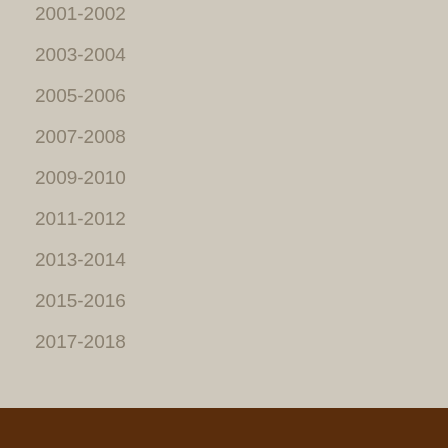2001-2002
2003-2004
2005-2006
2007-2008
2009-2010
2011-2012
2013-2014
2015-2016
2017-2018